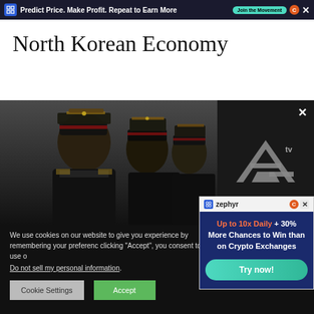[Figure (screenshot): Top advertisement banner with dark background: 'Predict Price. Make Profit. Repeat to Earn More' with 'Join the Movement' button, Zephyr logo, C icon, and X close button]
North Korean Economy
[Figure (photo): Photo of North Korean military officers in dark uniforms with decorative caps, with an AF TV overlay logo in the upper right portion]
We use cookies on our website to give you experience by remembering your preferenc clicking “Accept”, you consent to the use o
Do not sell my personal information.
[Figure (screenshot): Zephyr advertisement popup with blue background: 'Up to 10x Daily + 30% More Chances to Win than on Crypto Exchanges' with 'Try now!' button]
Cookie Settings
Accept